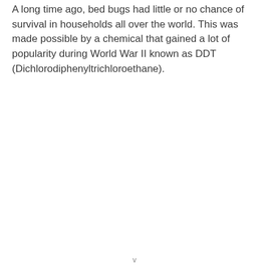A long time ago, bed bugs had little or no chance of survival in households all over the world. This was made possible by a chemical that gained a lot of popularity during World War II known as DDT (Dichlorodiphenyltrichloroethane).
v